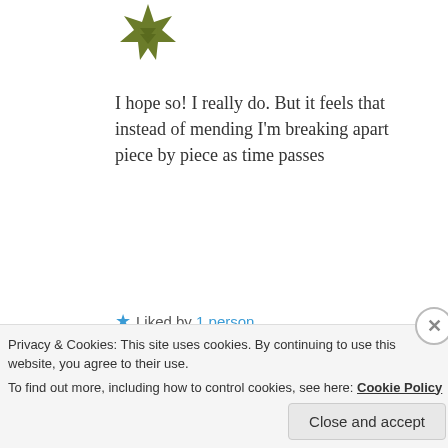[Figure (illustration): Olive/dark yellow colored decorative star/flower icon avatar]
I hope so! I really do. But it feels that instead of mending I'm breaking apart piece by piece as time passes
★ Liked by 1 person
REPLY
Leave a Reply
Privacy & Cookies: This site uses cookies. By continuing to use this website, you agree to their use.
To find out more, including how to control cookies, see here: Cookie Policy
Close and accept